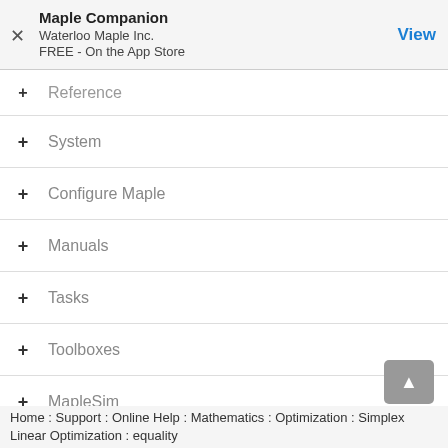Maple Companion
Waterloo Maple Inc.
FREE - On the App Store
View
Reference
System
Configure Maple
Manuals
Tasks
Toolboxes
MapleSim
MapleSim Toolboxes
Home : Support : Online Help : Mathematics : Optimization : Simplex Linear Optimization : equality